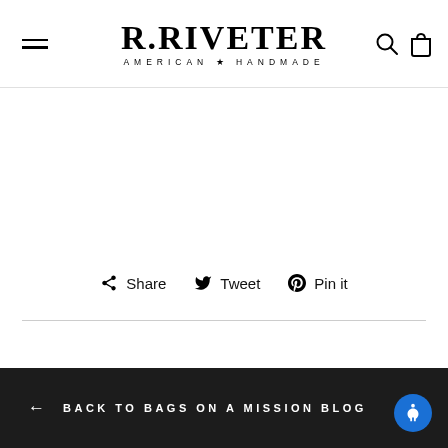R.RIVETER AMERICAN ★ HANDMADE
Share   Tweet   Pin it
← BACK TO BAGS ON A MISSION BLOG